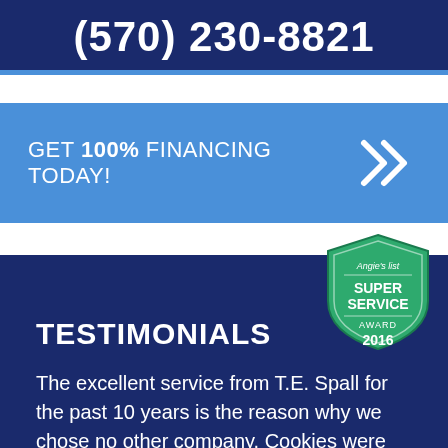(570) 230-8821
GET 100% FINANCING TODAY!
[Figure (logo): Angie's List Super Service Award 2016 badge - green shield shape with white text]
TESTIMONIALS
The excellent service from T.E. Spall for the past 10 years is the reason why we chose no other company. Cookies were delicious!!